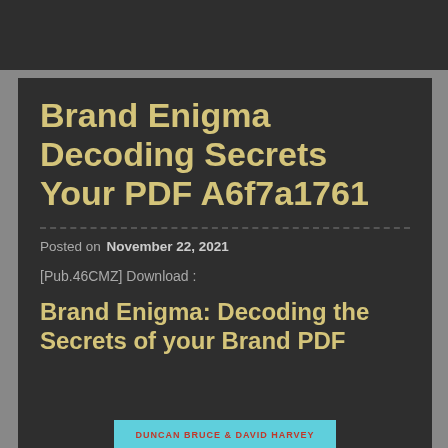Brand Enigma Decoding Secrets Your PDF A6f7a1761
Posted on  November 22, 2021
[Pub.46CMZ] Download :
Brand Enigma: Decoding the Secrets of your Brand PDF
[Figure (illustration): Book cover with cyan/light-blue background showing author names DUNCAN BRUCE & DAVID HARVEY]